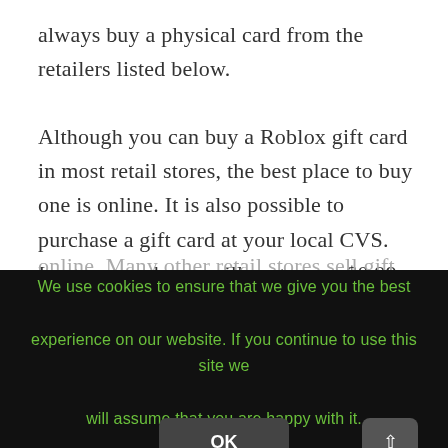always buy a physical card from the retailers listed below.
Although you can buy a Roblox gift card in most retail stores, the best place to buy one is online. It is also possible to purchase a gift card at your local CVS. In-store purchases will cost you a $0.99 handling fee, but you can avoid paying a shipping fee if you buy it online. Many other retail stores sell gift cards online
We use cookies to ensure that we give you the best experience on our website. If you continue to use this site we will assume that you are happy with it.